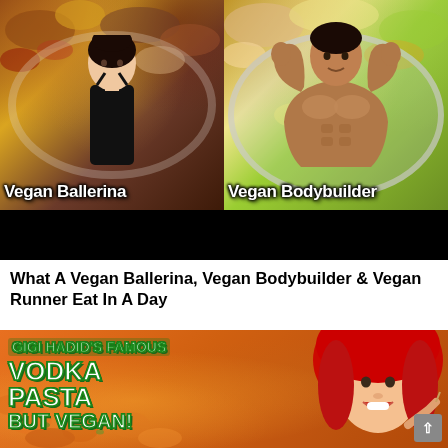[Figure (photo): YouTube thumbnail split into two halves: left side shows a young woman (vegan ballerina) in a black outfit against a background of colorful food/salad, with text 'Vegan Ballerina'; right side shows a muscular man (vegan bodybuilder) flexing against a pasta dish background, with text 'Vegan Bodybuilder'. Below is a black bar.]
What A Vegan Ballerina, Vegan Bodybuilder & Vegan Runner Eat In A Day
[Figure (photo): YouTube thumbnail showing a woman with red hair eating pasta, with text overlay reading 'GIGI HADID'S FAMOUS VODKA PASTA BUT VEGAN!' in white letters with green outline on an orange pasta background.]